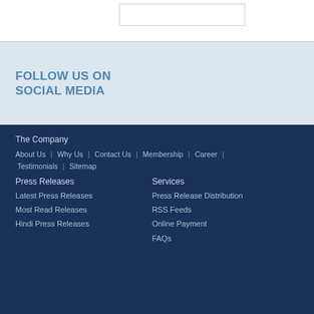FOLLOW US ON SOCIAL MEDIA
The Company
About Us | Why Us | Contact Us | Membership | Career | Testimonials | Sitemap
Press Releases
Services
Latest Press Releases
Most Read Releases
Hindi Press Releases
Press Release Distribution
RSS Feeds
Online Payment
FAQs